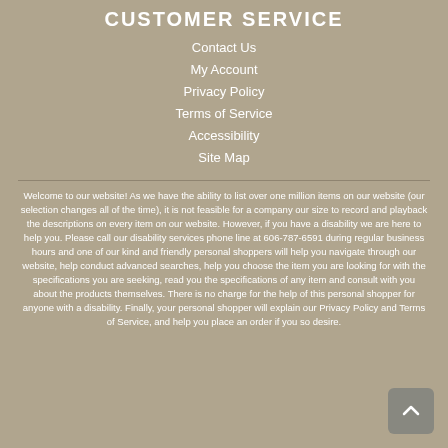CUSTOMER SERVICE
Contact Us
My Account
Privacy Policy
Terms of Service
Accessibility
Site Map
Welcome to our website! As we have the ability to list over one million items on our website (our selection changes all of the time), it is not feasible for a company our size to record and playback the descriptions on every item on our website. However, if you have a disability we are here to help you. Please call our disability services phone line at 606-787-6591 during regular business hours and one of our kind and friendly personal shoppers will help you navigate through our website, help conduct advanced searches, help you choose the item you are looking for with the specifications you are seeking, read you the specifications of any item and consult with you about the products themselves. There is no charge for the help of this personal shopper for anyone with a disability. Finally, your personal shopper will explain our Privacy Policy and Terms of Service, and help you place an order if you so desire.